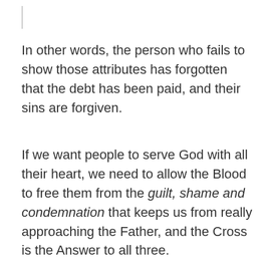In other words, the person who fails to show those attributes has forgotten that the debt has been paid, and their sins are forgiven.
If we want people to serve God with all their heart, we need to allow the Blood to free them from the guilt, shame and condemnation that keeps us from really approaching the Father, and the Cross is the Answer to all three.